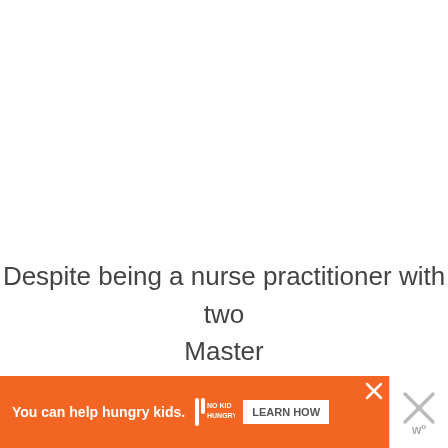Despite being a nurse practitioner with two Master
[Figure (other): Advertisement banner: orange background with 'You can help hungry kids.' text, No Kid Hungry logo, and 'LEARN HOW' button. Right side shows a large gray X and 'w°' logo.]